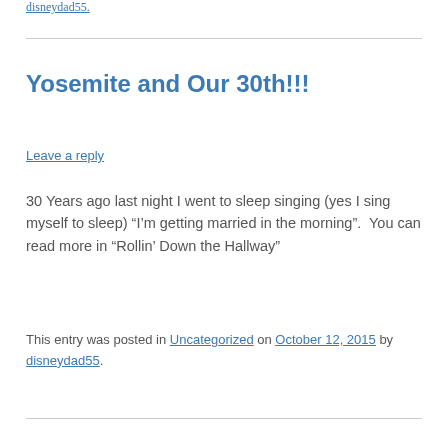disneydad55.
Yosemite and Our 30th!!!
Leave a reply
30 Years ago last night I went to sleep singing (yes I sing myself to sleep) “I’m getting married in the morning”.  You can read more in “Rollin’ Down the Hallway”
This entry was posted in Uncategorized on October 12, 2015 by disneydad55.